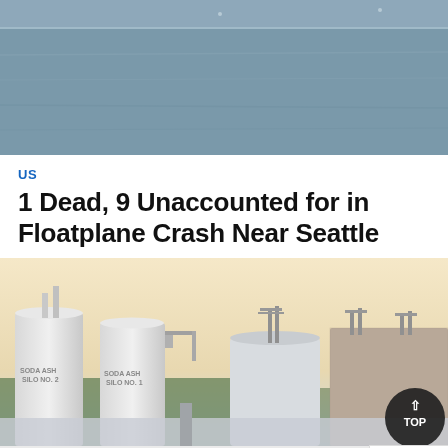[Figure (photo): Aerial or distant water view, gray-blue water with faint horizon]
US
1 Dead, 9 Unaccounted for in Floatplane Crash Near Seattle
[Figure (photo): Industrial facility with large white silo tanks labeled 'SODA ASH SILO NO. 2' and 'SODA ASH SILO NO. 1', metal structures, and a brick building, photographed at dusk with a warm sky]
Share
Comments
Privacy · Terms